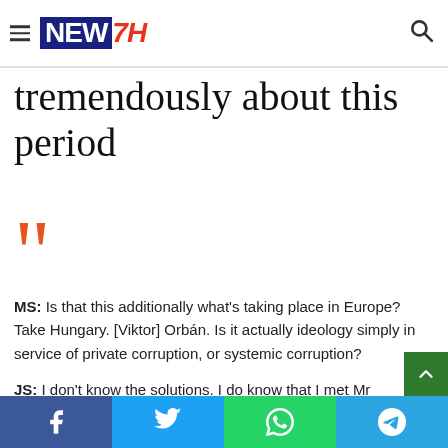NEW7H
tremendously about this period
[Figure (illustration): Large orange closing quotation marks decorative element]
MS: Is that this additionally what's taking place in Europe? Take Hungary. [Viktor] Orbán. Is it actually ideology simply in service of private corruption, or systemic corruption?
JS: I don't know the solutions. I do know that I met Mr Orbán as a younger man in 1989; we spent a beautiful day